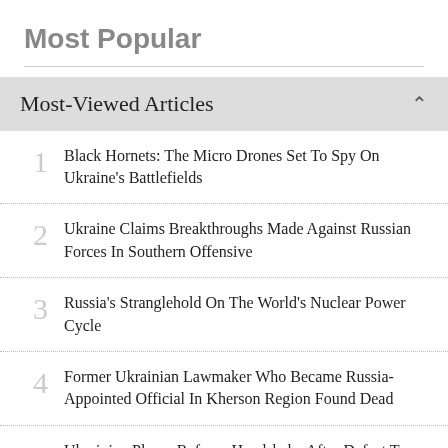Most Popular
Most-Viewed Articles
Black Hornets: The Micro Drones Set To Spy On Ukraine's Battlefields
Ukraine Claims Breakthroughs Made Against Russian Forces In Southern Offensive
Russia's Stranglehold On The World's Nuclear Power Cycle
Former Ukrainian Lawmaker Who Became Russia-Appointed Official In Kherson Region Found Dead
Ukrainian Player Refuses Handshake After Defeat To Belarus's Azarenka At U.S. Open